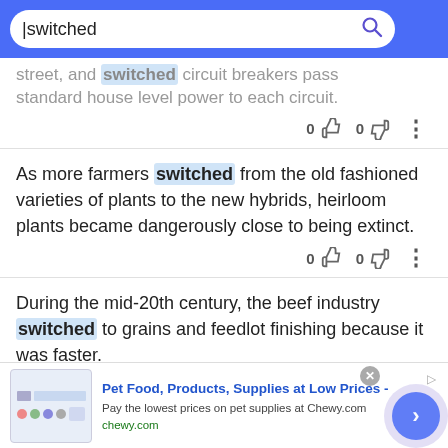switched [search bar]
street, and switched circuit breakers pass standard house level power to each circuit.
As more farmers switched from the old fashioned varieties of plants to the new hybrids, heirloom plants became dangerously close to being extinct.
During the mid-20th century, the beef industry switched to grains and feedlot finishing because it was faster.
[Figure (screenshot): Advertisement banner for Chewy.com pet food and supplies]